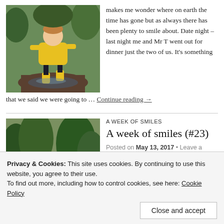[Figure (photo): Child in yellow raincoat and yellow boots jumping in a mud puddle outdoors]
makes me wonder where on earth the time has gone but as always there has been plenty to smile about. Date night – last night me and Mr T went out for dinner just the two of us. It's something that we said we were going to … Continue reading →
A WEEK OF SMILES
A week of smiles (#23)
Posted on May 13, 2017 • Leave a comment
[Figure (photo): Two young girls playing in a bluebell field with purple flowers in background]
This week has been another one that has zoomed by in a bit of blur and I have been finding it a bit tough being pregnant with a toddler…
Privacy & Cookies: This site uses cookies. By continuing to use this website, you agree to their use.
To find out more, including how to control cookies, see here: Cookie Policy